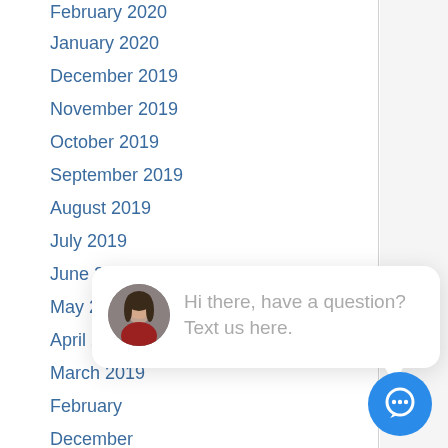February 2020
January 2020
December 2019
November 2019
October 2019
September 2019
August 2019
July 2019
June 2019
May 2019
April 2019
March 2019
February
December
November
October 2018
September 2018
August 2018
July 2018
June 2018
[Figure (screenshot): Chat widget popup with avatar photo of a woman and text 'Hi there, have a question? Text us here.' along with a blue circular chat button and a close button.]